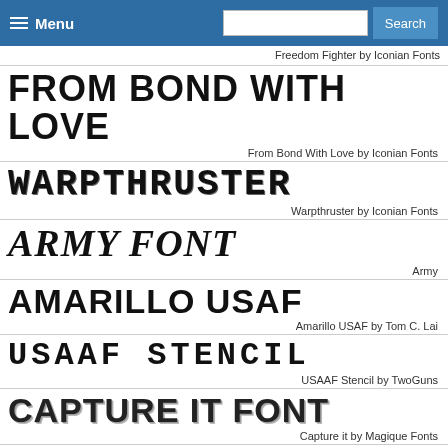Menu | Search
Freedom Fighter by Iconian Fonts
[Figure (illustration): FROM BOND WITH LOVE font preview in bold military stencil style]
From Bond With Love by Iconian Fonts
[Figure (illustration): WARPTHRUSTER font preview in bold stencil/military style]
Warpthruster by Iconian Fonts
[Figure (illustration): ARMY FONT preview in bold italic serif style]
Army
[Figure (illustration): AMARILLO USAF font preview in bold sans-serif style]
Amarillo USAF by Tom C. Lai
[Figure (illustration): USAAF STENCIL font preview in bold stencil/monospace style]
USAAF Stencil by TwoGuns
[Figure (illustration): CAPTURE IT FONT preview in bold distressed style]
Capture it by Magique Fonts